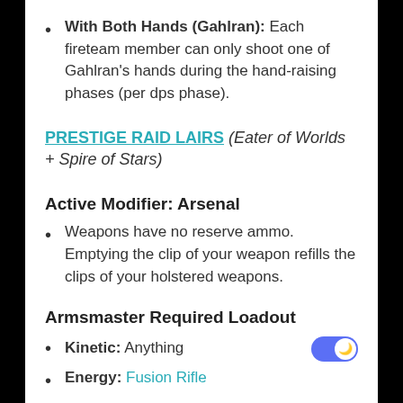With Both Hands (Gahlran): Each fireteam member can only shoot one of Gahlran's hands during the hand-raising phases (per dps phase).
PRESTIGE RAID LAIRS (Eater of Worlds + Spire of Stars)
Active Modifier: Arsenal
Weapons have no reserve ammo. Emptying the clip of your weapon refills the clips of your holstered weapons.
Armsmaster Required Loadout
Kinetic: Anything
Energy: Fusion Rifle